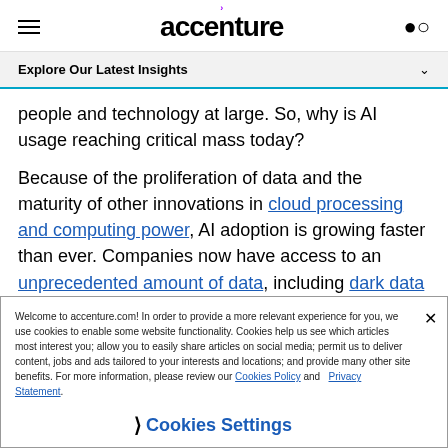accenture
Explore Our Latest Insights
people and technology at large. So, why is AI usage reaching critical mass today?
Because of the proliferation of data and the maturity of other innovations in cloud processing and computing power, AI adoption is growing faster than ever. Companies now have access to an unprecedented amount of data, including dark data they didn't even realize they had until now. These treasure troves are a boon to the growth of AI.
Welcome to accenture.com! In order to provide a more relevant experience for you, we use cookies to enable some website functionality. Cookies help us see which articles most interest you; allow you to easily share articles on social media; permit us to deliver content, jobs and ads tailored to your interests and locations; and provide many other site benefits. For more information, please review our Cookies Policy and Privacy Statement.
Cookies Settings